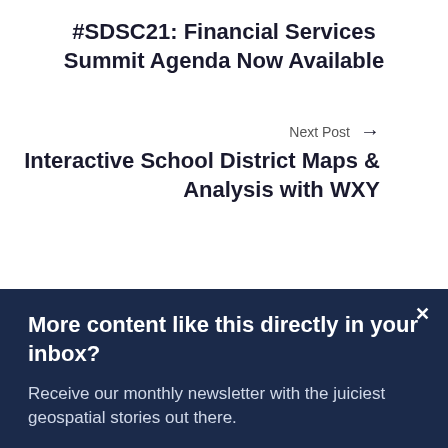#SDSC21: Financial Services Summit Agenda Now Available
Next Post
Interactive School District Maps & Analysis with WXY
Related Posts
More content like this directly in your inbox?
Receive our monthly newsletter with the juiciest geospatial stories out there.